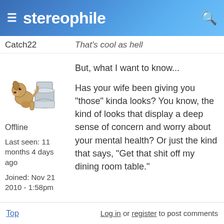≡ stereophile 🔍
Catch22   That's cool as hell
[Figure (illustration): Animated dog avatar sitting on/near a toilet, cartoon style]
Offline
Last seen: 11 months 4 days ago
Joined: Nov 21 2010 - 1:58pm
But, what I want to know...

Has your wife been giving you "those" kinda looks? You know, the kind of looks that display a deep sense of concern and worry about your mental health? Or just the kind that says, "Get that shit off my dining room table."
Top   Log in or register to post comments